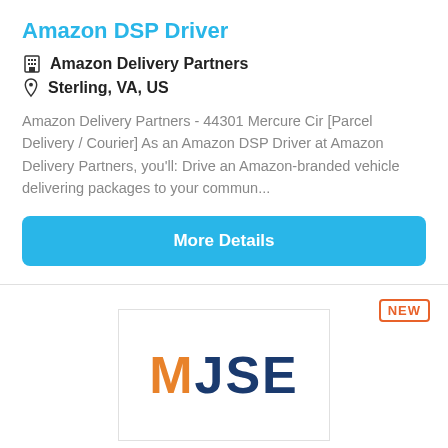Amazon DSP Driver
Amazon Delivery Partners
Sterling, VA, US
Amazon Delivery Partners - 44301 Mercure Cir [Parcel Delivery / Courier] As an Amazon DSP Driver at Amazon Delivery Partners, you'll: Drive an Amazon-branded vehicle delivering packages to your commun...
More Details
[Figure (logo): MJSE company logo with M in orange and JSE in dark blue, inside a white bordered box]